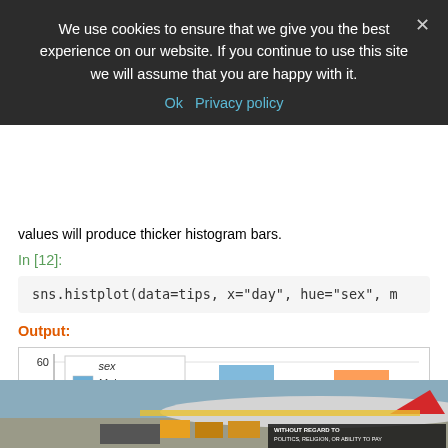We use cookies to ensure that we give you the best experience on our website. If you continue to use this site we will assume that you are happy with it.
Ok   Privacy policy
values will produce thicker histogram bars.
In [12]:
sns.histplot(data=tips, x="day", hue="sex", m
Output:
[Figure (bar-chart): Partial seaborn histplot showing day vs count grouped by sex. Y-axis labels visible: 40, 50, 60. Two bars visible (blue=Male ~57, orange=Female ~55) for Saturday. Legend shows sex: Male (blue), Female (orange).]
[Figure (photo): Cargo airplane being loaded with freight at an airport tarmac. Southwest Airlines plane in background.]